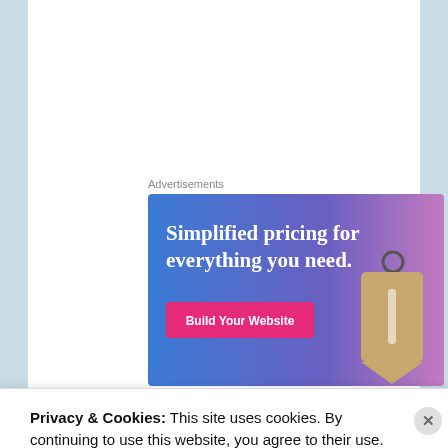Advertisements
[Figure (illustration): Advertisement banner with blue-to-purple gradient background, large white text 'Simplified pricing for everything you need.', a pink 'Build Your Website' button, and a 3D price tag image on the right.]
Privacy & Cookies: This site uses cookies. By continuing to use this website, you agree to their use.
To find out more, including how to control cookies, see here: Cookie Policy